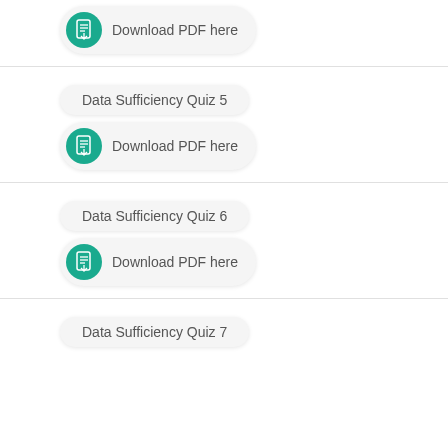[Figure (other): Download PDF here button with teal PDF icon]
Data Sufficiency Quiz 5
[Figure (other): Download PDF here button with teal PDF icon]
Data Sufficiency Quiz 6
[Figure (other): Download PDF here button with teal PDF icon]
Data Sufficiency Quiz 7